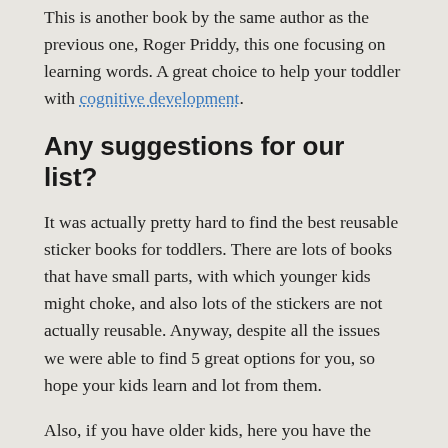This is another book by the same author as the previous one, Roger Priddy, this one focusing on learning words. A great choice to help your toddler with cognitive development.
Any suggestions for our list?
It was actually pretty hard to find the best reusable sticker books for toddlers. There are lots of books that have small parts, with which younger kids might choke, and also lots of the stickers are not actually reusable. Anyway, despite all the issues we were able to find 5 great options for you, so hope your kids learn and lot from them.
Also, if you have older kids, here you have the reason why the Diary of a Wimpy Kid 5 movie was never released, kinda shocking that there won't be more live action films based on these books by Jeff Kinney.